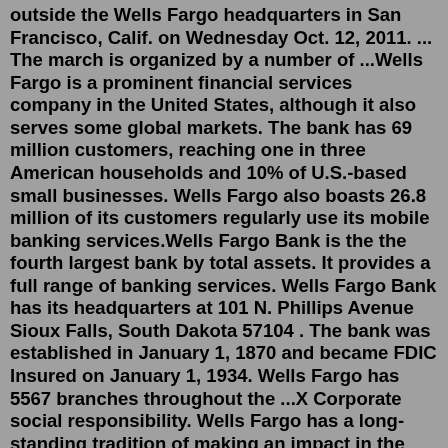outside the Wells Fargo headquarters in San Francisco, Calif. on Wednesday Oct. 12, 2011. ... The march is organized by a number of ...Wells Fargo is a prominent financial services company in the United States, although it also serves some global markets. The bank has 69 million customers, reaching one in three American households and 10% of U.S.-based small businesses. Wells Fargo also boasts 26.8 million of its customers regularly use its mobile banking services.Wells Fargo Bank is the the fourth largest bank by total assets. It provides a full range of banking services. Wells Fargo Bank has its headquarters at 101 N. Phillips Avenue Sioux Falls, South Dakota 57104 . The bank was established in January 1, 1870 and became FDIC Insured on January 1, 1934. Wells Fargo has 5567 branches throughout the ...X Corporate social responsibility. Wells Fargo has a long-standing tradition of making an impact in the communities that we live in. We support active volunteering, allowing employees time-off to participate in volunteer work of their